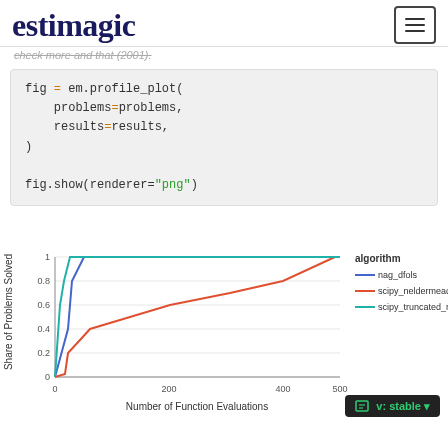estimagic
Check more and that (2001).
fig = em.profile_plot(
    problems=problems,
    results=results,
)

fig.show(renderer="png")
[Figure (line-chart): ]